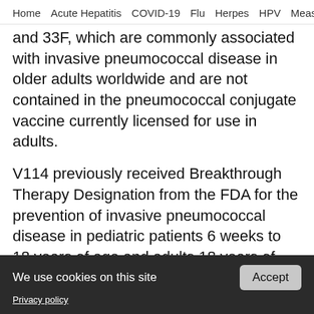Home  Acute Hepatitis  COVID-19  Flu  Herpes  HPV  Measles  RS
and 33F, which are commonly associated with invasive pneumococcal disease in older adults worldwide and are not contained in the pneumococcal conjugate vaccine currently licensed for use in adults.
V114 previously received Breakthrough Therapy Designation from the FDA for the prevention of invasive pneumococcal disease in pediatric patients 6 weeks to 18 years of age and adults 18 years of age and older.
We use cookies on this site  Privacy policy  Accept